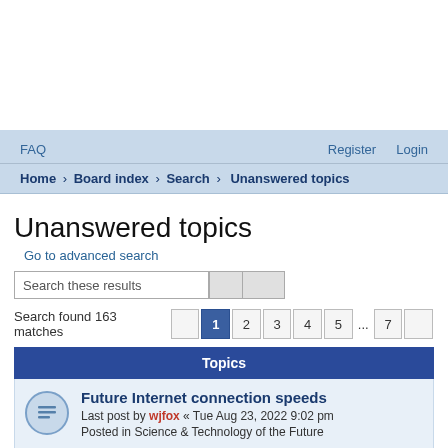FAQ   Register   Login
Home › Board index › Search › Unanswered topics
Unanswered topics
Go to advanced search
Search these results
Search found 163 matches  1 2 3 4 5 ... 7
Topics
Future Internet connection speeds
Last post by wjfox « Tue Aug 23, 2022 9:02 pm
Posted in Science & Technology of the Future
The approaching tsunami of addictive AI-created content will overwhelm us
Last post by funkonpost « Sun Aug 21, 2022 3:47 pm